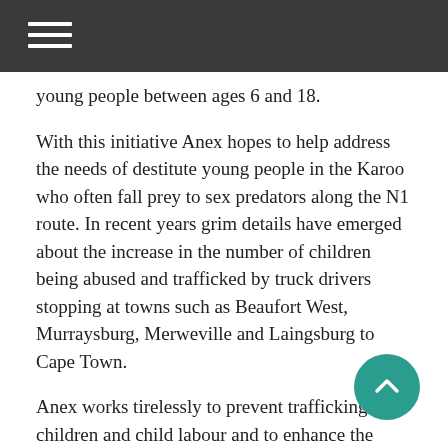young people between ages 6 and 18.
With this initiative Anex hopes to help address the needs of destitute young people in the Karoo who often fall prey to sex predators along the N1 route. In recent years grim details have emerged about the increase in the number of children being abused and trafficked by truck drivers stopping at towns such as Beaufort West, Murraysburg, Merweville and Laingsburg to Cape Town.
Anex works tirelessly to prevent trafficking in children and child labour and to enhance the response from role-players to trafficking, explains Claudia Burger, Programme Director of the organisation. “Our main focus is on prevention and early intervention. There is a great need for alternative care for children whose home circumstances have deteriorated to a point where a